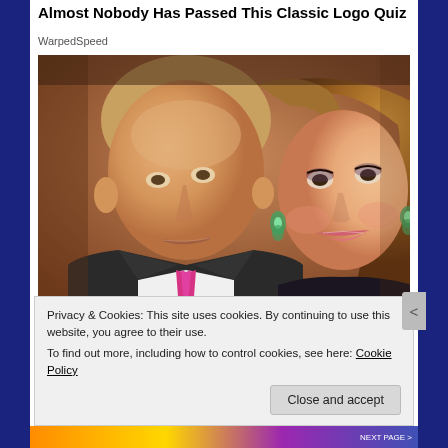Almost Nobody Has Passed This Classic Logo Quiz
WarpedSpeed
[Figure (photo): Photo of two people: a man on the left wearing a dark suit, white shirt, and pink tie, and a woman on the right with long brown hair and green earrings, both facing the camera closely together.]
Privacy & Cookies: This site uses cookies. By continuing to use this website, you agree to their use.
To find out more, including how to control cookies, see here: Cookie Policy
Close and accept